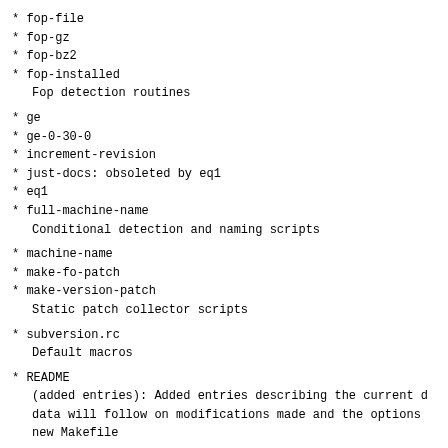* fop-file
* fop-gz
* fop-bz2
* fop-installed
  Fop detection routines
* ge
* ge-0-30-0
* increment-revision
* just-docs: obsoleted by eq1
* eq1
* full-machine-name
  Conditional detection and naming scripts
* machine-name
* make-fo-patch
* make-version-patch
  Static patch collector scripts
* subversion.rc
  Default macros
* README
  (added entries): Added entries describing the current d
  data will follow on modifications made and the options
  new Makefile
* subversion.spec
  (heavy rewrite): See email shortly